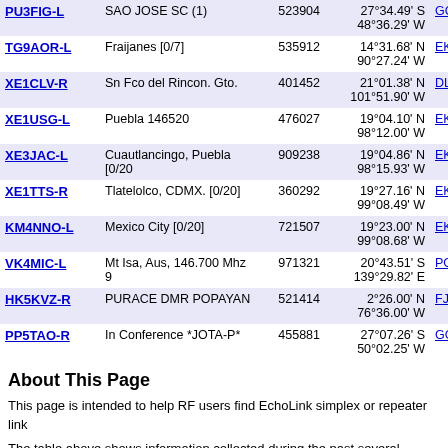| Callsign | Location | Node ID | Coordinates | Grid |
| --- | --- | --- | --- | --- |
| PU3FIG-L | SAO JOSE SC (1) | 523904 | 27°34.49' S 48°36.29' W | GG52qk |
| TG9AOR-L | Fraijanes [0/7] | 535912 | 14°31.68' N 90°27.24' W | EK44sm |
| XE1CLV-R | Sn Fco del Rincon. Gto. | 401452 | 21°01.38' N 101°51.90' W | DL91ba |
| XE1USG-L | Puebla 146520 | 476027 | 19°04.10' N 98°12.00' W | EK09vb |
| XE3JAC-L | Cuautlancingo, Puebla [0/20 | 909238 | 19°04.86' N 98°15.93' W | EK09ub |
| XE1TTS-R | Tlatelolco, CDMX. [0/20] | 360292 | 19°27.16' N 99°08.49' W | EK09kk |
| KM4NNO-L | Mexico City [0/20] | 721507 | 19°23.00' N 99°08.68' W | EK09kj |
| VK4MIC-L | Mt Isa, Aus, 146.700 Mhz 9 | 971321 | 20°43.51' S 139°29.82' E | PG99rg |
| HK5KVZ-R | PURACE DMR POPAYAN | 521414 | 2°26.00' N 76°36.00' W | FJ12qk |
| PP5TAO-R | In Conference *JOTA-P* | 455881 | 27°07.26' S 50°02.25' W | GG42xv |
About This Page
This page is intended to help RF users find EchoLink simplex or repeater link nodes near a specific location.
The table above shows information collected during the past several minutes. The nodes shown are those which have entered location information on the RF Info tab.
Simplex links (-L) show the location, frequency, and antenna information of th